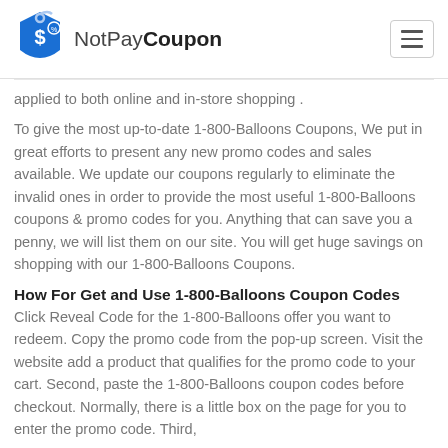NotPayCoupon
applied to both online and in-store shopping .
To give the most up-to-date 1-800-Balloons Coupons, We put in great efforts to present any new promo codes and sales available. We update our coupons regularly to eliminate the invalid ones in order to provide the most useful 1-800-Balloons coupons & promo codes for you. Anything that can save you a penny, we will list them on our site. You will get huge savings on shopping with our 1-800-Balloons Coupons.
How For Get and Use 1-800-Balloons Coupon Codes
Click Reveal Code for the 1-800-Balloons offer you want to redeem. Copy the promo code from the pop-up screen. Visit the website add a product that qualifies for the promo code to your cart. Second, paste the 1-800-Balloons coupon codes before checkout. Normally, there is a little box on the page for you to enter the promo code. Third,